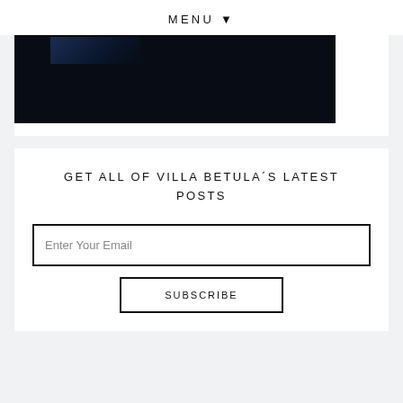MENU ▼
[Figure (photo): Dark/nighttime photo, mostly black with faint blue tones in upper left corner]
GET ALL OF VILLA BETULA´S LATEST POSTS
Enter Your Email
SUBSCRIBE